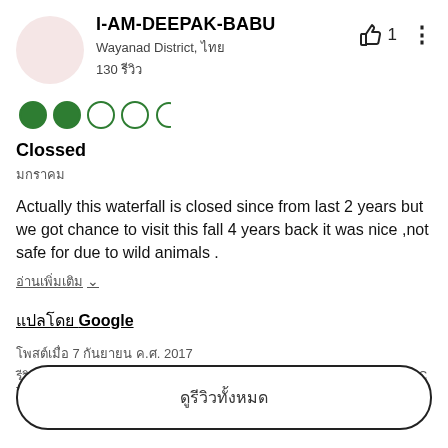I-AM-DEEPAK-BABU
Wayanad District, ไทย
130 รีวิว
[Figure (other): User profile avatar circle, light pink/beige color]
👍 1 ⋮
[Figure (other): Rating: 2 out of 5 circles filled green]
Clossed
ไทย date
Actually this waterfall is closed since from last 2 years but we got chance to visit this fall 4 years back it was nice ,not safe for due to wild animals .
อ่านเพิ่มเติม ∨
แปลโดย Google
โพสต์เมื่อ 7 กันยายน ค.ศ. 2017
รีวิวนี้เป็นความคิดเห็นส่วนตัวของสมาชิก Tripadvisor ไม่ใช่ของ Tripadvisor LLC Tripadvisor ทำการตรวจสอบรีวิว
ดูรีวิวทั้งหมด